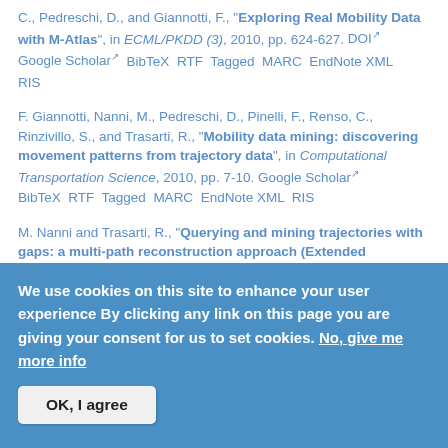C., Pedreschi, D., and Giannotti, F., "Exploring Real Mobility Data with M-Atlas", in ECML/PKDD (3), 2010, pp. 624-627. DOI Google Scholar BibTeX RTF Tagged MARC EndNote XML RIS
F. Giannotti, Nanni, M., Pedreschi, D., Pinelli, F., Renso, C., Rinzivillo, S., and Trasarti, R., "Mobility data mining: discovering movement patterns from trajectory data", in Computational Transportation Science, 2010, pp. 7-10. Google Scholar BibTeX RTF Tagged MARC EndNote XML RIS
M. Nanni and Trasarti, R., "Querying and mining trajectories with gaps: a multi-path reconstruction approach (Extended
We use cookies on this site to enhance your user experience By clicking any link on this page you are giving your consent for us to set cookies. No, give me more info
OK, I agree